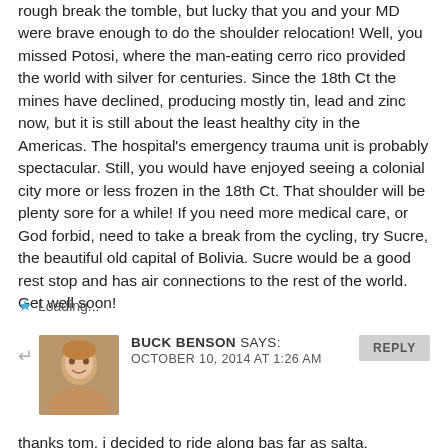rough break the tomble, but lucky that you and your MD were brave enough to do the shoulder relocation! Well, you missed Potosi, where the man-eating cerro rico provided the world with silver for centuries. Since the 18th Ct the mines have declined, producing mostly tin, lead and zinc now, but it is still about the least healthy city in the Americas. The hospital’s emergency trauma unit is probably spectacular. Still, you would have enjoyed seeing a colonial city more or less frozen in the 18th Ct. That shoulder will be plenty sore for a while! If you need more medical care, or God forbid, need to take a break from the cycling, try Sucre, the beautiful old capital of Bolivia. Sucre would be a good rest stop and has air connections to the rest of the world. Get well soon!
Loading...
BUCK BENSON SAYS: OCTOBER 10, 2014 AT 1:26 AM
thanks tom, i decided to ride along bas far as salta,